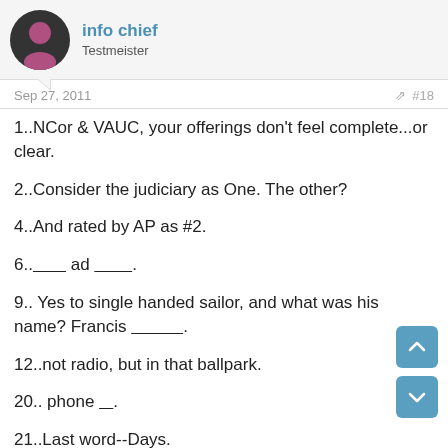info chief / Testmeister
Sep 27, 2011  #18
1..NCor & VAUC, your offerings don't feel complete...or clear.
2..Consider the judiciary as One. The other?
4..And rated by AP as #2.
6.._______ ad ________.
9.. Yes to single handed sailor, and what was his name? Francis ___________.
12..not radio, but in that ballpark.
20.. phone ___.
21..Last word--Days.